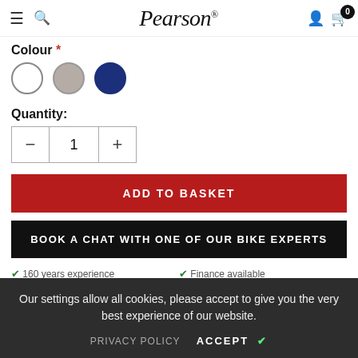Pearson
Colour *
[Figure (illustration): Three colour swatches: white circle, grey circle, navy blue circle]
Quantity:
[Figure (other): Quantity stepper control with minus button, value 1, and plus button]
ADD TO BASKET
BOOK A CHAT WITH ONE OF OUR BIKE EXPERTS
160 years experience
Finance available
Our settings allow all cookies, please accept to give you the very best experience of our website.
PRIVACY POLICY   ACCEPT ✓